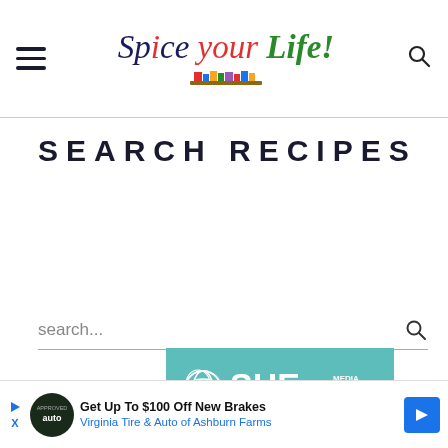Spice your Life! — site header with hamburger menu and search icon
SEARCH RECIPES
search...
[Figure (logo): SHE Media Partner Network logo on teal background]
[Figure (other): Advertisement: Get Up To $100 Off New Brakes — Virginia Tire & Auto of Ashburn Farms]